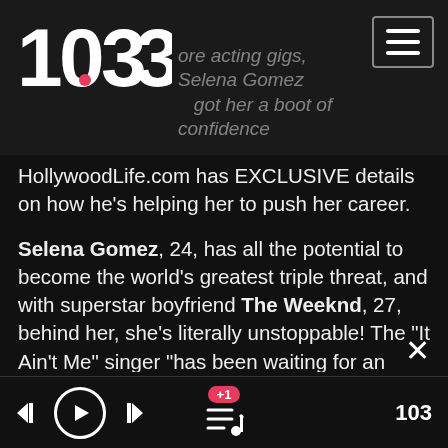103.3 FM radio app header with logo and menu button
HollywoodLife.com has EXCLUSIVE details on how he's helping her to push her career.
Selena Gomez, 24, has all the potential to become the world's greatest triple threat, and with superstar boyfriend The Weeknd, 27, behind her, she's literally unstoppable! The "It Ain't Me" singer "has been waiting for an opportunity like this, to work with another huge director for a major film," a source tells HollywoodLife.com EXCLUSIVELY, referring to her recent partnership with Woody Allen. "She's eager to get juicier roles as an actress and is very ambitious. She dreams big and wants it all...Emmy's, Golden Globes, Oscars, Grammy's, and maybe even a Tony." But all
+1 queue, player controls, 103